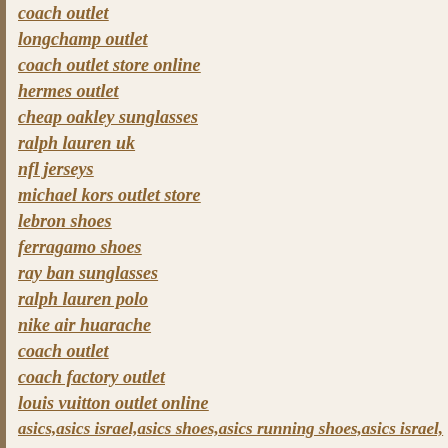coach outlet
longchamp outlet
coach outlet store online
hermes outlet
cheap oakley sunglasses
ralph lauren uk
nfl jerseys
michael kors outlet store
lebron shoes
ferragamo shoes
ray ban sunglasses
ralph lauren polo
nike air huarache
coach outlet
coach factory outlet
louis vuitton outlet online
asics,asics israel,asics shoes,asics running shoes,asics israel,